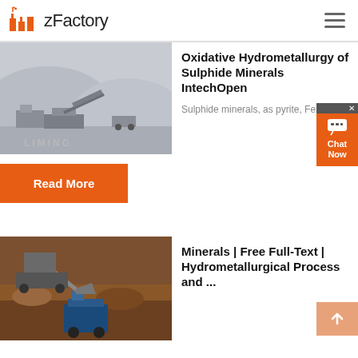zFactory
[Figure (photo): Mining machinery and crushers on rocky terrain with watermark LIMING]
Oxidative Hydrometallurgy of Sulphide Minerals IntechOpen
Sulphide minerals, as pyrite, FeS...
Read More
[Figure (photo): Excavator and blue machinery at a mining/quarry site with rocks and rubble]
Minerals | Free Full-Text | Hydrometallurgical Process and ...